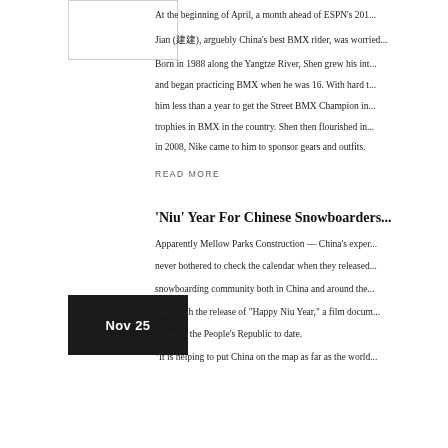[Figure (photo): Image placeholder with border in upper left area]
At the beginning of April, a month ahead of ESPN's 201... Jian (沈建), arguebly China's best BMX rider, was worried...
Born in 1988 along the Yangtze River, Shen grew his int... and began practicing BMX when he was 16. With hard t... him less than a year to get the Street BMX Champion in... trophies in BMX in the country. Shen then flourished in... in 2008, Nike came to him to sponsor gears and outfits.
READ MORE
[Figure (other): Dark box with date Nov 25]
'Niu' Year For Chinese Snowboarders
Apparently Mellow Parks Construction — China's exper... never bothered to check the calendar when they released... snowboarding community both in China and around the... early with the release of "Happy Niu Year," a film docum... riding in the People's Republic to date.
"It is helping to put China on the map as far as the world...